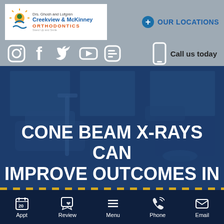[Figure (logo): Creekview and McKinney Orthodontics logo with green/blue icon and text]
OUR LOCATIONS
[Figure (illustration): Social media icons: Instagram, Facebook, Twitter, YouTube, Blogger]
Call us today
[Figure (photo): Dental office interior with chairs and equipment, blue-tinted overlay]
CONE BEAM X-RAYS CAN IMPROVE OUTCOMES IN
[Figure (infographic): Bottom navigation bar with Appt, Review, Menu, Phone, Email icons]